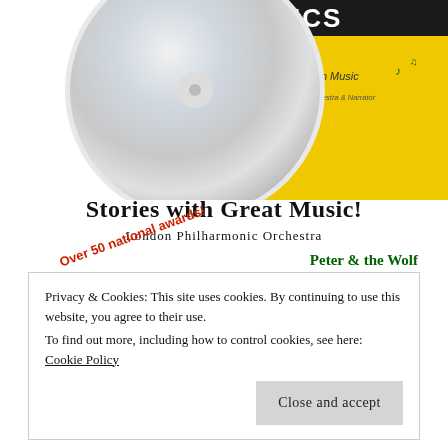[Figure (illustration): Album cover for 'Stories in Music' by Naxos Classics featuring the London Philharmonic Orchestra. A CD disc is visible at top center against a yellow background with musical note decorations.]
Stories with Great Music!
London Philharmonic Orchestra
Over 50 national awards!
Peter & the Wolf
Swan Lake
and many more!
Privacy & Cookies: This site uses cookies. By continuing to use this website, you agree to their use.
To find out more, including how to control cookies, see here: Cookie Policy
Close and accept